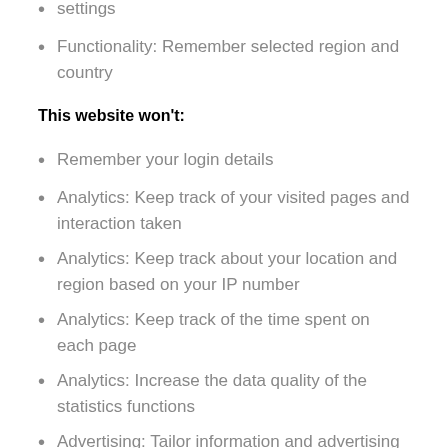settings
Functionality: Remember selected region and country
This website won't:
Remember your login details
Analytics: Keep track of your visited pages and interaction taken
Analytics: Keep track about your location and region based on your IP number
Analytics: Keep track of the time spent on each page
Analytics: Increase the data quality of the statistics functions
Advertising: Tailor information and advertising to your interests based on e.g. the content you